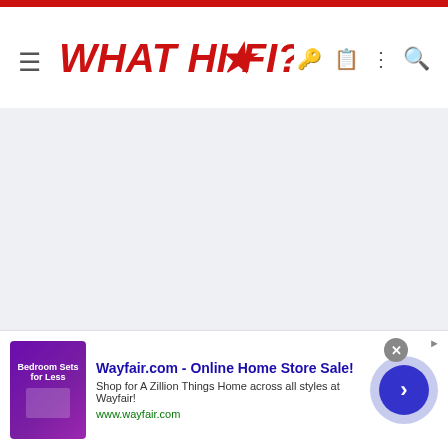WHAT HI-FI? — navigation bar with logo, hamburger menu, key icon, clipboard icon, dots icon, search icon
[Figure (screenshot): Light grey blank content area below the navigation bar]
DIB
Well-known member
[Figure (infographic): Advertisement banner: Wayfair.com - Online Home Store Sale! Shop for A Zillion Things Home across all styles at Wayfair! www.wayfair.com]